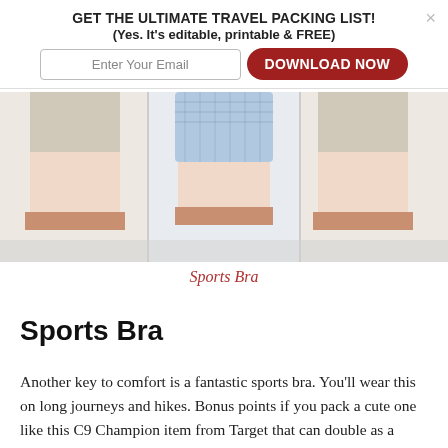GET THE ULTIMATE TRAVEL PACKING LIST!
(Yes. It's editable, printable & FREE)
[Figure (screenshot): Email signup form with 'Enter Your Email' input and 'DOWNLOAD NOW' red rounded button]
[Figure (photo): Product photo of sports bras, showing torsos wearing sports bras against a light background with rose gold band accents]
Sports Bra
Sports Bra
Another key to comfort is a fantastic sports bra. You'll wear this on long journeys and hikes. Bonus points if you pack a cute one like this C9 Champion item from Target that can double as a swimsuit top.